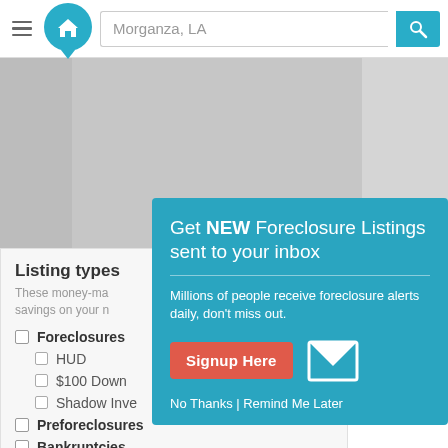[Figure (screenshot): Website header with hamburger menu, house logo in teal speech bubble, search bar reading 'Morganza, LA', and teal search button with magnifying glass icon]
[Figure (screenshot): Gray map area placeholder showing a map view background]
Listing types
These money-ma savings on your n
Foreclosures
HUD
$100 Down
Shadow Inve
Preforeclosures
Bankruptcies
[Figure (screenshot): Teal modal popup: 'Get NEW Foreclosure Listings sent to your inbox' with subtitle 'Millions of people receive foreclosure alerts daily, don't miss out.' A red 'Signup Here' button and envelope icon, with 'No Thanks | Remind Me Later' text links below.]